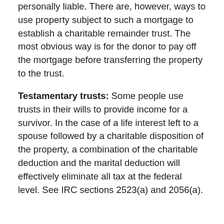personally liable. There are, however, ways to use property subject to such a mortgage to establish a charitable remainder trust. The most obvious way is for the donor to pay off the mortgage before transferring the property to the trust.
Testamentary trusts: Some people use trusts in their wills to provide income for a survivor. In the case of a life interest left to a spouse followed by a charitable disposition of the property, a combination of the charitable deduction and the marital deduction will effectively eliminate all tax at the federal level. See IRC sections 2523(a) and 2056(a).